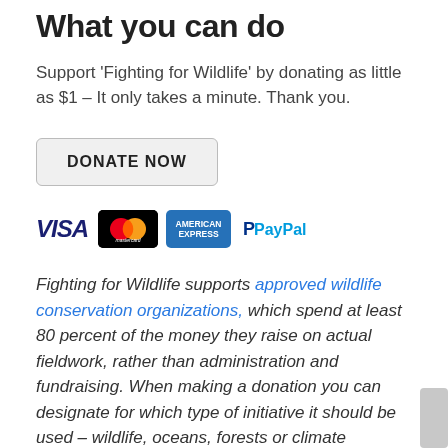What you can do
Support 'Fighting for Wildlife' by donating as little as $1 – It only takes a minute. Thank you.
[Figure (other): DONATE NOW button — a rounded rectangle button with light gray background and border, containing bold uppercase text 'DONATE NOW']
[Figure (other): Payment method icons: VISA logo, Mastercard logo (two overlapping circles red and orange on black background), American Express logo (blue rectangle with 'AMERICAN EXPRESS' text), PayPal logo (blue P icon with 'PayPal' text)]
Fighting for Wildlife supports approved wildlife conservation organizations, which spend at least 80 percent of the money they raise on actual fieldwork, rather than administration and fundraising. When making a donation you can designate for which type of initiative it should be used – wildlife, oceans, forests or climate